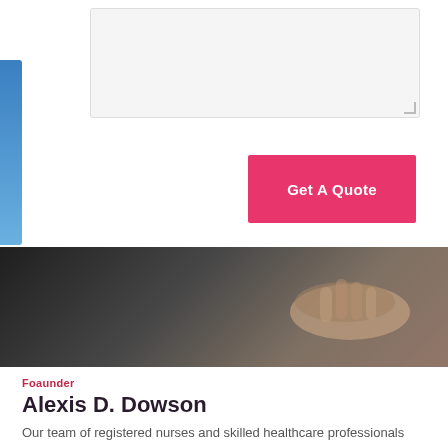[Figure (screenshot): Form textarea input field with light gray background and resize handle in bottom-right corner]
[Figure (screenshot): Pink/red 'Get A Quote' button]
[Figure (photo): Dark blurred background photo showing a hand/healthcare context]
Foaunder
Alexis D. Dowson
Our team of registered nurses and skilled healthcare professionals provide